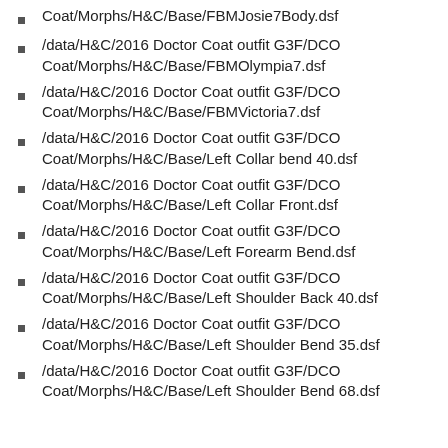Coat/Morphs/H&C/Base/FBMJosie7Body.dsf
/data/H&C/2016 Doctor Coat outfit G3F/DCO Coat/Morphs/H&C/Base/FBMOlympia7.dsf
/data/H&C/2016 Doctor Coat outfit G3F/DCO Coat/Morphs/H&C/Base/FBMVictoria7.dsf
/data/H&C/2016 Doctor Coat outfit G3F/DCO Coat/Morphs/H&C/Base/Left Collar bend 40.dsf
/data/H&C/2016 Doctor Coat outfit G3F/DCO Coat/Morphs/H&C/Base/Left Collar Front.dsf
/data/H&C/2016 Doctor Coat outfit G3F/DCO Coat/Morphs/H&C/Base/Left Forearm Bend.dsf
/data/H&C/2016 Doctor Coat outfit G3F/DCO Coat/Morphs/H&C/Base/Left Shoulder Back 40.dsf
/data/H&C/2016 Doctor Coat outfit G3F/DCO Coat/Morphs/H&C/Base/Left Shoulder Bend 35.dsf
/data/H&C/2016 Doctor Coat outfit G3F/DCO Coat/Morphs/H&C/Base/Left Shoulder Bend 68.dsf